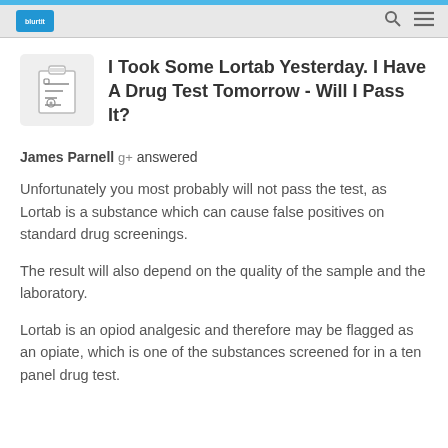blurtit [search icon] [menu icon]
I Took Some Lortab Yesterday. I Have A Drug Test Tomorrow - Will I Pass It?
James Parnell g+ answered
Unfortunately you most probably will not pass the test, as Lortab is a substance which can cause false positives on standard drug screenings.
The result will also depend on the quality of the sample and the laboratory.
Lortab is an opiod analgesic and therefore may be flagged as an opiate, which is one of the substances screened for in a ten panel drug test.